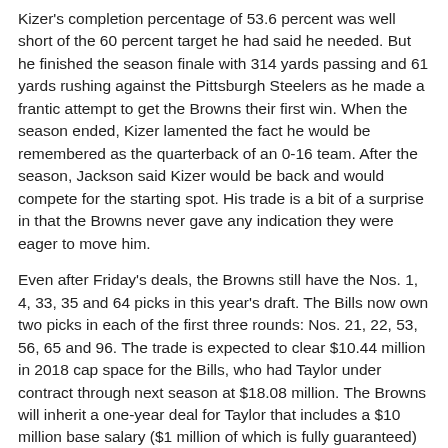Kizer's completion percentage of 53.6 percent was well short of the 60 percent target he had said he needed. But he finished the season finale with 314 yards passing and 61 yards rushing against the Pittsburgh Steelers as he made a frantic attempt to get the Browns their first win. When the season ended, Kizer lamented the fact he would be remembered as the quarterback of an 0-16 team. After the season, Jackson said Kizer would be back and would compete for the starting spot. His trade is a bit of a surprise in that the Browns never gave any indication they were eager to move him.
Even after Friday's deals, the Browns still have the Nos. 1, 4, 33, 35 and 64 picks in this year's draft. The Bills now own two picks in each of the first three rounds: Nos. 21, 22, 53, 56, 65 and 96. The trade is expected to clear $10.44 million in 2018 cap space for the Bills, who had Taylor under contract through next season at $18.08 million. The Browns will inherit a one-year deal for Taylor that includes a $10 million base salary ($1 million of which is fully guaranteed) and a $6 million roster bonus due March 16. Friday's trade leaves 2017 fifth-round pick Nathan Peterman as the only quarterback under contract for the Bills.
Taylor, 28, compiled a 23-20 record in 43 starts for the Bills since 2015. After he won the Bills' starting quarterback competition in 2015 and made the Pro Bowl, Taylor's production declined in each of the past